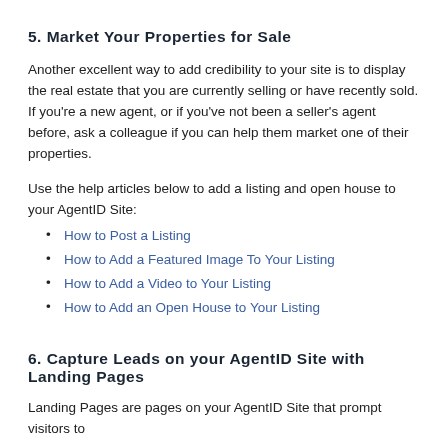5. Market Your Properties for Sale
Another excellent way to add credibility to your site is to display the real estate that you are currently selling or have recently sold. If you're a new agent, or if you've not been a seller's agent before, ask a colleague if you can help them market one of their properties.
Use the help articles below to add a listing and open house to your AgentID Site:
How to Post a Listing
How to Add a Featured Image To Your Listing
How to Add a Video to Your Listing
How to Add an Open House to Your Listing
6. Capture Leads on your AgentID Site with Landing Pages
Landing Pages are pages on your AgentID Site that prompt visitors to